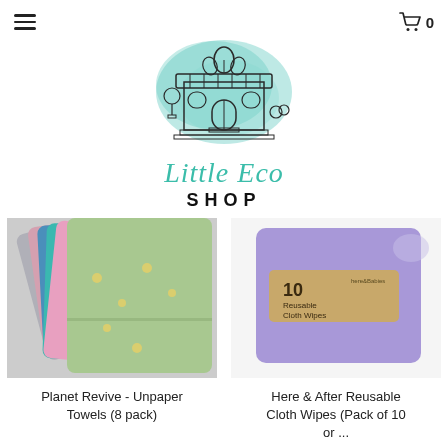≡  0
[Figure (logo): Little Eco Shop logo: watercolor teal splash background with illustrated shop building and leaves, text 'Little Eco SHOP']
[Figure (photo): Stack of colorful fabric unpaper towels with bee and floral prints]
Planet Revive - Unpaper Towels (8 pack)
[Figure (photo): Purple reusable cloth wipes package labeled '10 Reusable Cloth Wipes' by here&babies]
Here & After Reusable Cloth Wipes (Pack of 10 or ...